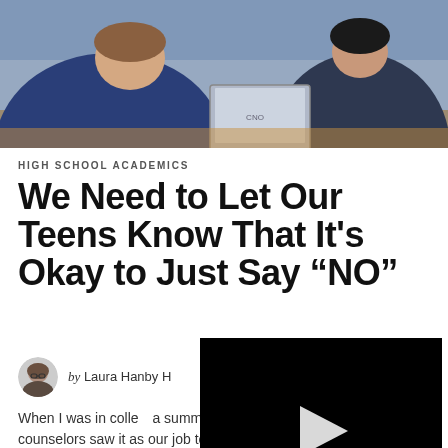[Figure (photo): Photograph of high school students in classroom, one in blue sweatshirt at front left, another in blue polo shirt at right with laptop visible]
HIGH SCHOOL ACADEMICS
We Need to Let Our Teens Know That It's Okay to Just Say “NO”
by Laura Hanby H...
[Figure (screenshot): Video player overlay with play button, progress bar showing 01:33, and controls including mute, time, grid, settings, and expand icons]
When I was in colle... a summer camp where well-meaning counselors saw it as our job to encourage campers to be brave